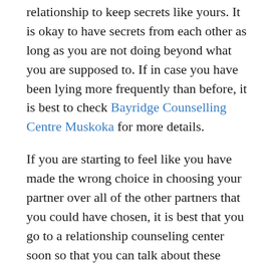relationship to keep secrets like yours. It is okay to have secrets from each other as long as you are not doing beyond what you are supposed to. If in case you have been lying more frequently than before, it is best to check Bayridge Counselling Centre Muskoka for more details.
If you are starting to feel like you have made the wrong choice in choosing your partner over all of the other partners that you could have chosen, it is best that you go to a relationship counseling center soon so that you can talk about these things. Even if you complain non-stop, you will not get anything out of it. Fighting about it with your partner will not get your partner to change.